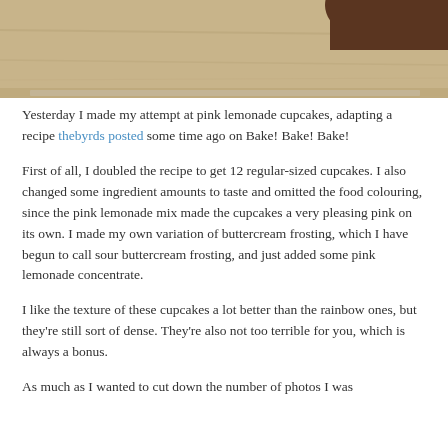[Figure (photo): Partial photo of a cupcake or baked good on a wooden surface, cropped at the top of the page]
Yesterday I made my attempt at pink lemonade cupcakes, adapting a recipe thebyrds posted some time ago on Bake! Bake! Bake!
First of all, I doubled the recipe to get 12 regular-sized cupcakes. I also changed some ingredient amounts to taste and omitted the food colouring, since the pink lemonade mix made the cupcakes a very pleasing pink on its own. I made my own variation of buttercream frosting, which I have begun to call sour buttercream frosting, and just added some pink lemonade concentrate.
I like the texture of these cupcakes a lot better than the rainbow ones, but they're still sort of dense. They're also not too terrible for you, which is always a bonus.
As much as I wanted to cut down the number of photos I was